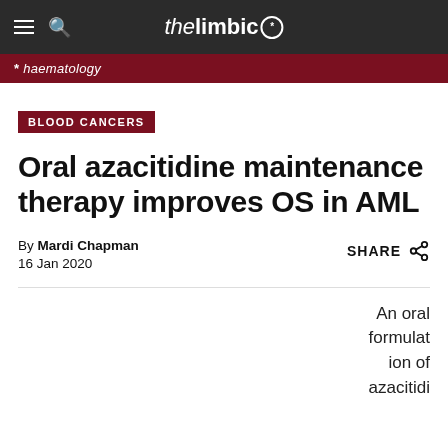the limbic*
* haematology
BLOOD CANCERS
Oral azacitidine maintenance therapy improves OS in AML
By Mardi Chapman
16 Jan 2020
An oral formulation of azacitidi